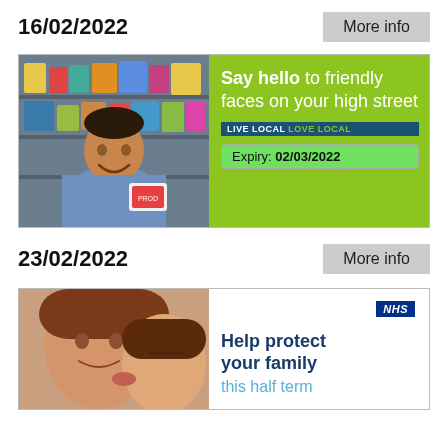16/02/2022
More info
[Figure (photo): Promotional card: Man in a shop smiling, holding a product. Green panel reads 'Say hello to friendly faces on your high street'. LIVE LOCAL LOVE LOCAL badge. Expiry: 02/03/2022]
23/02/2022
More info
[Figure (photo): NHS promotional card: Photo of two women. NHS logo. Text: Help protect your family this half term]